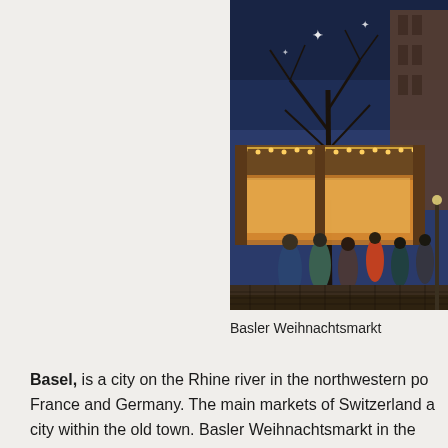[Figure (photo): A Christmas market (Basler Weihnachtsmarkt) at twilight with a wooden market stall adorned with warm string lights, bare trees, a tall church tower in the background, and people browsing the market on cobblestone ground.]
Basler Weihnachtsmarkt
Basel, is a city on the Rhine river in the northwestern po France and Germany. The main markets of Switzerland a city within the old town. Basler Weihnachtsmarkt in the